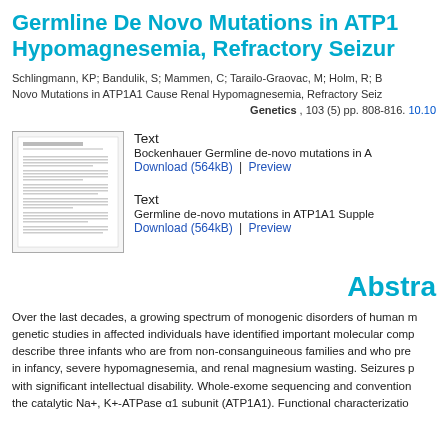Germline De Novo Mutations in ATP1A1 Cause Renal Hypomagnesemia, Refractory Seizures
Schlingmann, KP; Bandulik, S; Mammen, C; Tarailo-Graovac, M; Holm, R; Bockenhauer Germline De Novo Mutations in ATP1A1 Cause Renal Hypomagnesemia, Refractory Seiz… Genetics , 103 (5) pp. 808-816. 10.10…
[Figure (other): Thumbnail image of a text document page]
Text
Bockenhauer Germline de-novo mutations in AT…
Download (564kB) | Preview
Text
Germline de-novo mutations in ATP1A1 Supple…
Download (564kB) | Preview
Abstract
Over the last decades, a growing spectrum of monogenic disorders of human m… genetic studies in affected individuals have identified important molecular comp… describe three infants who are from non-consanguineous families and who pre… in infancy, severe hypomagnesemia, and renal magnesium wasting. Seizures p… with significant intellectual disability. Whole-exome sequencing and convention… the catalytic Na+, K+-ATPase α1 subunit (ATP1A1). Functional characterizatio…